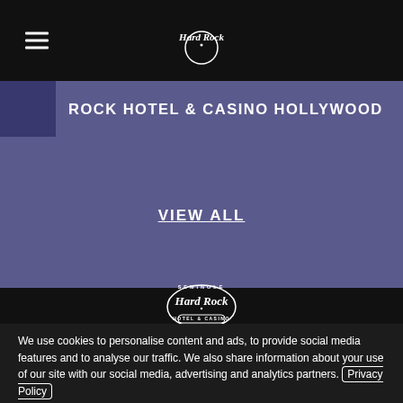Hard Rock (navigation bar with hamburger menu and Hard Rock logo)
ROCK HOTEL & CASINO HOLLYWOOD
VIEW ALL
[Figure (logo): Seminole Hard Rock Hotel & Casino circular logo in white on black background]
We use cookies to personalise content and ads, to provide social media features and to analyse our traffic. We also share information about your use of our site with our social media, advertising and analytics partners. Privacy Policy
Cookie Settings   ✓ Accept Cookies   ×